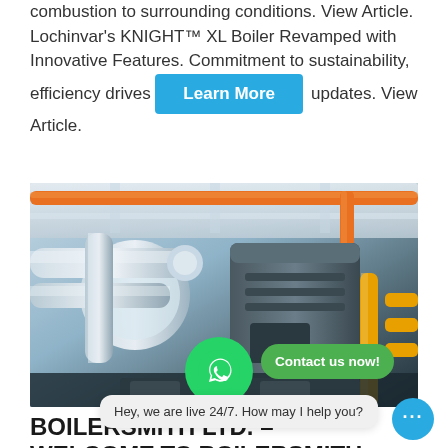combustion to surrounding conditions. View Article. Lochinvar's KNIGHT™ XL Boiler Revamped with Innovative Features. Commitment to sustainability, efficiency drives updates. View Article.
Learn More
[Figure (photo): Industrial boiler room with large insulated pipes, orange pipes, and yellow pipes in a commercial facility]
[Figure (other): WhatsApp green circle icon with phone receiver symbol]
Contact us now!
BOILERSMITH LTD. – WELCOME TO BOILERSMITH LTD. ...
Hey, we are live 24/7. How may I help you?